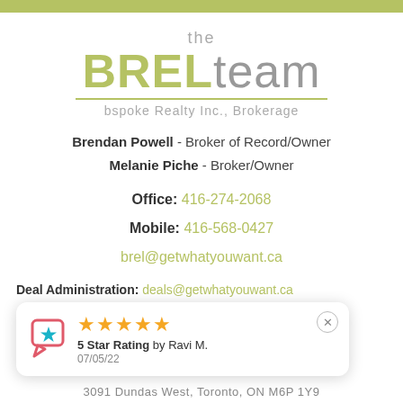[Figure (logo): The BREL team logo - 'the' in grey above, 'BREL' in olive green bold and 'team' in grey, with olive green underline, and 'bspoke Realty Inc., Brokerage' below]
Brendan Powell - Broker of Record/Owner
Melanie Piche - Broker/Owner
Office: 416-274-2068
Mobile: 416-568-0427
brel@getwhatyouwant.ca
Deal Administration: deals@getwhatyouwant.ca
[Figure (other): Review widget overlay showing 5 star rating by Ravi M. dated 07/05/22]
3091 Dundas West, Toronto, ON M6P 1Y9